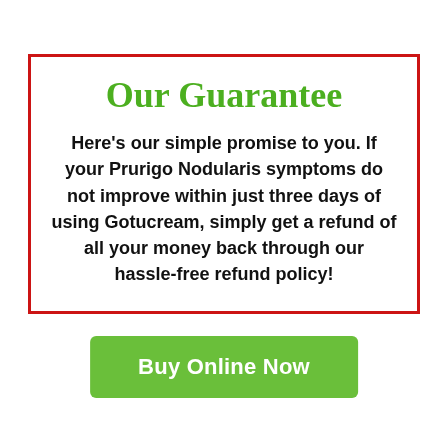Our Guarantee
Here's our simple promise to you. If your Prurigo Nodularis symptoms do not improve within just three days of using Gotucream, simply get a refund of all your money back through our hassle-free refund policy!
Buy Online Now